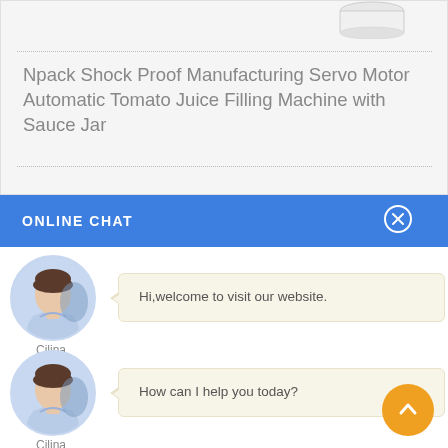[Figure (photo): Partial view of a glass jar/bottle at the top of a product card]
Npack Shock Proof Manufacturing Servo Motor Automatic Tomato Juice Filling Machine with Sauce Jar
ONLINE CHAT
[Figure (photo): Avatar photo of a female customer service agent named Cilina, shown in a circular crop]
Cilina
Hi,welcome to visit our website.
[Figure (photo): Avatar photo of a female customer service agent named Cilina, shown in a circular crop]
Cilina
How can I help you today?